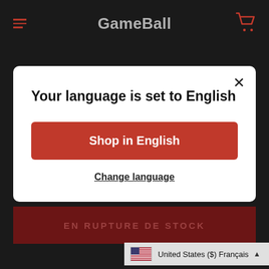GameBall
Your language is set to English
Shop in English
Change language
EN RUPTURE DE STOCK
United States ($) Français